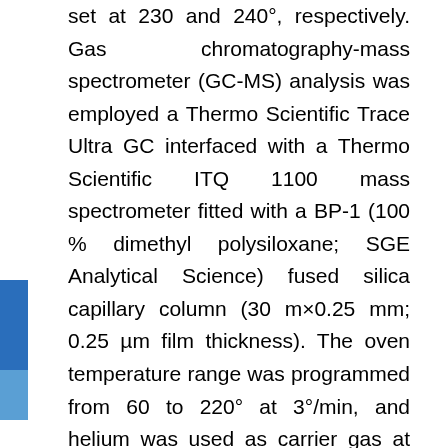set at 230 and 240°, respectively. Gas chromatography-mass spectrometer (GC-MS) analysis was employed a Thermo Scientific Trace Ultra GC interfaced with a Thermo Scientific ITQ 1100 mass spectrometer fitted with a BP-1 (100 % dimethyl polysiloxane; SGE Analytical Science) fused silica capillary column (30 m×0.25 mm; 0.25 µm film thickness). The oven temperature range was programmed from 60 to 220° at 3°/min, and helium was used as carrier gas at 1.0 ml/min for analysis. The injector temperature was set at 230°, and the injection volume was 0.1 µl in n-hexane, with a split ratio of 1:50. MS was taken at 70 eV with a mass range of m/z 40-450 and other parameters used were those reported earlier [18-20]. The major